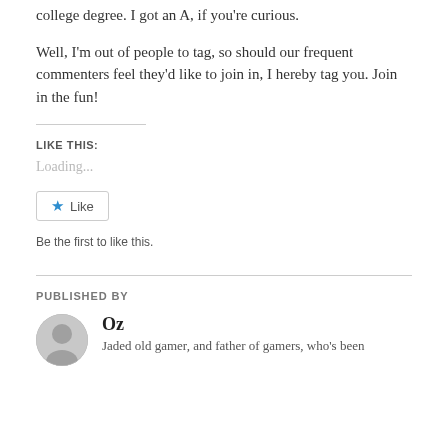college degree. I got an A, if you're curious.
Well, I'm out of people to tag, so should our frequent commenters feel they'd like to join in, I hereby tag you. Join in the fun!
LIKE THIS:
Loading...
[Figure (other): Like button with star icon]
Be the first to like this.
PUBLISHED BY
[Figure (photo): Author avatar circular photo]
Oz
Jaded old gamer, and father of gamers, who's been